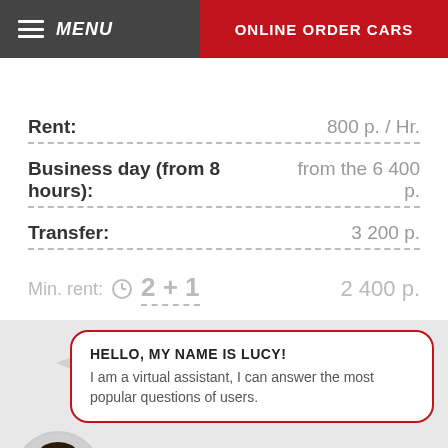MENU | ONLINE ORDER CARS
Rent: 800 p. / Hr.
Business day (from 8 hours): from the 6 400 p.
Transfer: 3 200 p.
Min. rent: 2 + 1   2 400 p.
HELLO, MY NAME IS LUCY! I am a virtual assistant, I can answer the most popular questions of users.
[Figure (illustration): Avatar of virtual assistant Lucy — cartoon female character with glasses]